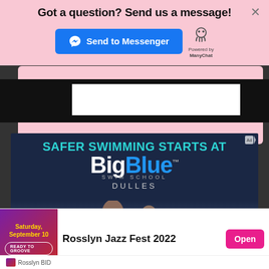Got a question? Send us a message!
[Figure (screenshot): Blue 'Send to Messenger' button with Facebook Messenger icon, and ManyChat logo with 'Powered by ManyChat' text]
[Figure (screenshot): Black bar with white inner region, part of a chat widget UI]
[Figure (screenshot): BigBlue Swim School advertisement. Text reads: SAFER SWIMMING STARTS AT, BigBlue SWIM SCHOOL, DULLES. Dark navy background with teal text and pool/children imagery.]
[Figure (screenshot): Rosslyn Jazz Fest 2022 advertisement with purple/red gradient thumbnail showing Saturday, September 10 and READY TO GROOVE text, with pink Open button and Rosslyn BID branding]